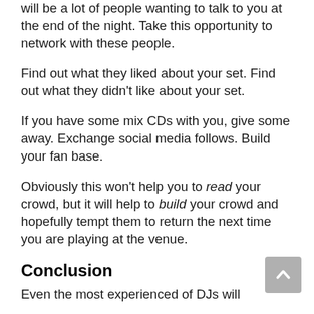will be a lot of people wanting to talk to you at the end of the night. Take this opportunity to network with these people.
Find out what they liked about your set. Find out what they didn't like about your set.
If you have some mix CDs with you, give some away. Exchange social media follows. Build your fan base.
Obviously this won't help you to read your crowd, but it will help to build your crowd and hopefully tempt them to return the next time you are playing at the venue.
Conclusion
Even the most experienced of DJs will